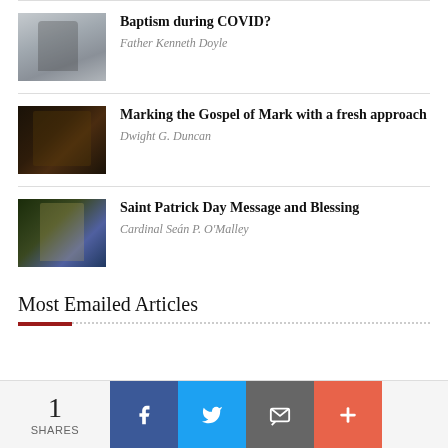[Figure (photo): Photo of baptism ceremony with priests and masks]
Baptism during COVID?
Father Kenneth Doyle
[Figure (photo): Dark book cover image for Gospel of Mark]
Marking the Gospel of Mark with a fresh approach
Dwight G. Duncan
[Figure (photo): Stained glass image of Saint Patrick]
Saint Patrick Day Message and Blessing
Cardinal Seán P. O'Malley
Most Emailed Articles
1 SHARES